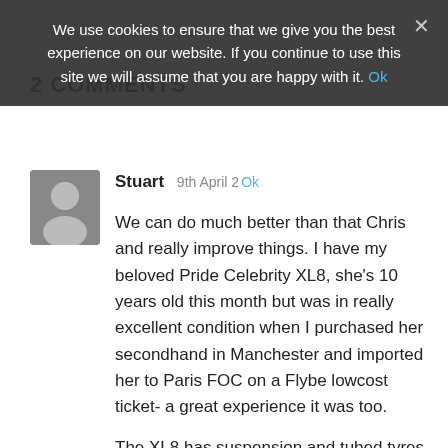We use cookies to ensure that we give you the best experience on our website. If you continue to use this site we will assume that you are happy with it. Ok
2 COMMENTS
Stuart  9th April 2  Ok
We can do much better than that Chris and really improve things. I have my beloved Pride Celebrity XL8, she’s 10 years old this month but was in really excellent condition when I purchased her secondhand in Manchester and imported her to Paris FOC on a Flybe lowcost ticket- a great experience it was too.

The XL8 has suspension and tubed tyres – essential for the Paris cobbles. I added seat suspension with a sprung seat post, a secondary 12-volt wiring loom and twin USB...